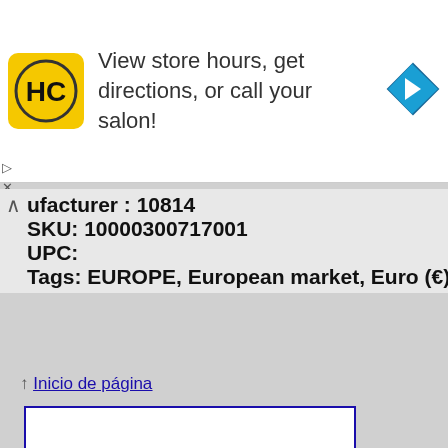[Figure (advertisement): Ad banner with HC Salon logo and navigation arrow icon. Text reads: View store hours, get directions, or call your salon!]
ufacturer : 10814
SKU: 10000300717001
UPC:
Tags: EUROPE, European market, Euro (€), EUROP
↑ Inicio de página
[Figure (photo): PlayStation 4 DualShock 4 controller in crystal/transparent color scheme, viewed from front, on white background.]